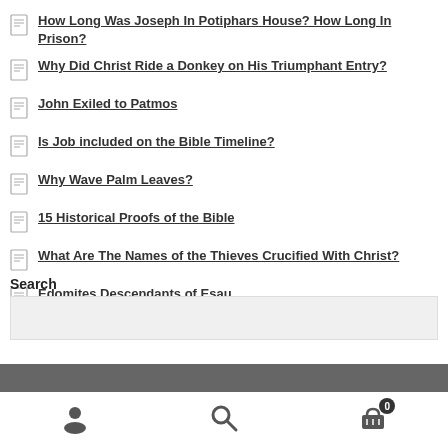How Long Was Joseph In Potiphars House? How Long In Prison?
Why Did Christ Ride a Donkey on His Triumphant Entry?
John Exiled to Patmos
Is Job included on the Bible Timeline?
Why Wave Palm Leaves?
15 Historical Proofs of the Bible
What Are The Names of the Thieves Crucified With Christ?
Edomites Descendants of Esau
Search